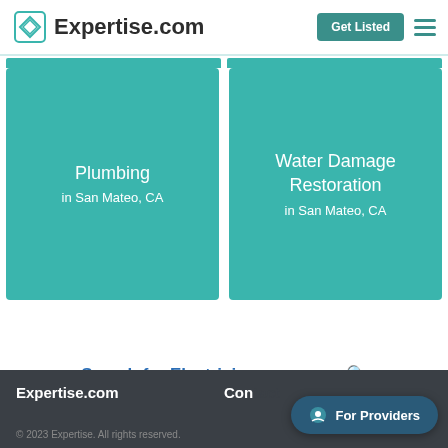Expertise.com
[Figure (illustration): Teal card with text: Plumbing in San Mateo, CA]
[Figure (illustration): Teal card with text: Water Damage Restoration in San Mateo, CA]
Search for Electricians near you 🔍
Expertise.com  Con...  For Providers